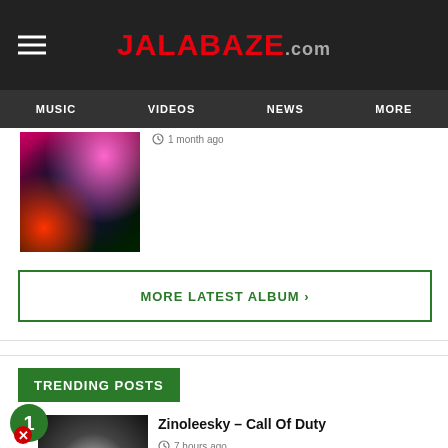JALABAZE.com
MUSIC   VIDEOS   NEWS   MORE
[Figure (photo): Colorful abstract album art with dark background, pink and orange colors, surreal imagery]
1 month ago
MORE LATEST ALBUM ›
TRENDING POSTS
1
[Figure (photo): Black and white photo of a figure with large afro hair, dramatic backlit scene]
Zinoleesky – Call Of Duty
7 hours ago